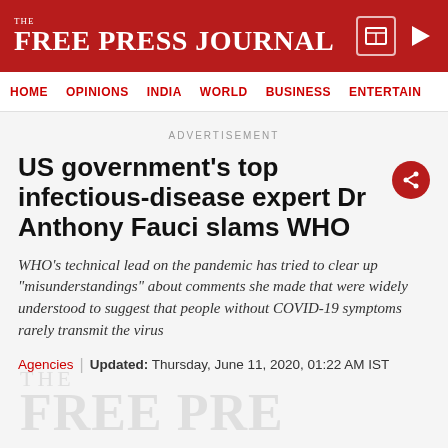THE FREE PRESS JOURNAL
HOME | OPINIONS | INDIA | WORLD | BUSINESS | ENTERTAIN
ADVERTISEMENT
US government's top infectious-disease expert Dr Anthony Fauci slams WHO
WHO's technical lead on the pandemic has tried to clear up "misunderstandings" about comments she made that were widely understood to suggest that people without COVID-19 symptoms rarely transmit the virus
Agencies | Updated: Thursday, June 11, 2020, 01:22 AM IST